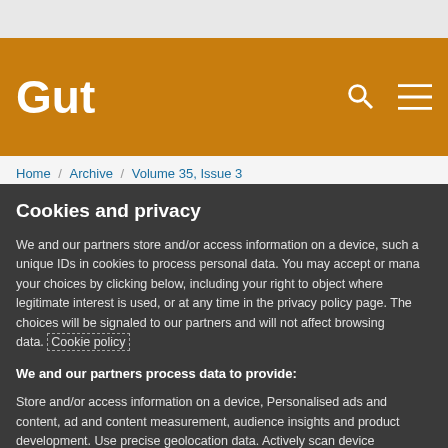Gut
Home / Archive / Volume 35, Issue 3
Cookies and privacy
We and our partners store and/or access information on a device, such as unique IDs in cookies to process personal data. You may accept or manage your choices by clicking below, including your right to object where legitimate interest is used, or at any time in the privacy policy page. These choices will be signaled to our partners and will not affect browsing data. Cookie policy
We and our partners process data to provide:
Store and/or access information on a device, Personalised ads and content, ad and content measurement, audience insights and product development. Use precise geolocation data. Actively scan device characteristics for identification
List of Partners (vendors)